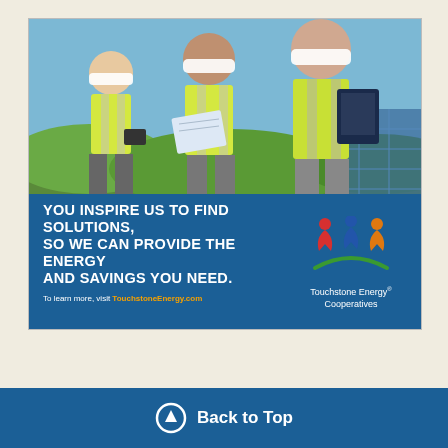[Figure (photo): Advertisement showing three workers in yellow high-visibility vests and white hard hats. One holds a tablet, one holds blueprints, one holds a laptop. Blue banner overlay with Touchstone Energy Cooperatives branding.]
Back to Top